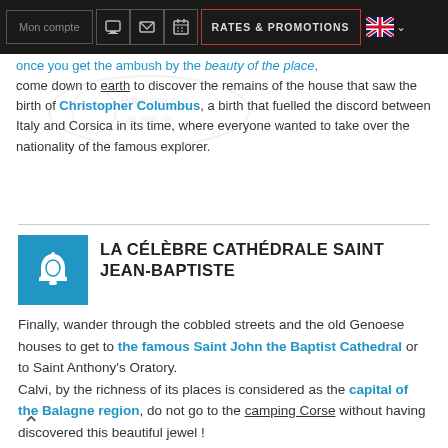Mon compte | [phone icon] | [mail icon] | [calendar icon] | RATES & PROMOTIONS | [UK flag]
once you get the ambush by the beauty of the place, come down to earth to discover the remains of the house that saw the birth of Christopher Columbus, a birth that fuelled the discord between Italy and Corsica in its time, where everyone wanted to take over the nationality of the famous explorer.
LA CÉLÈBRE CATHÉDRALE SAINT JEAN-BAPTISTE
Finally, wander through the cobbled streets and the old Genoese houses to get to the famous Saint John the Baptist Cathedral or to Saint Anthony's Oratory.
Calvi, by the richness of its places is considered as the capital of the Balagne region, do not go to the camping Corse without having discovered this beautiful jewel !